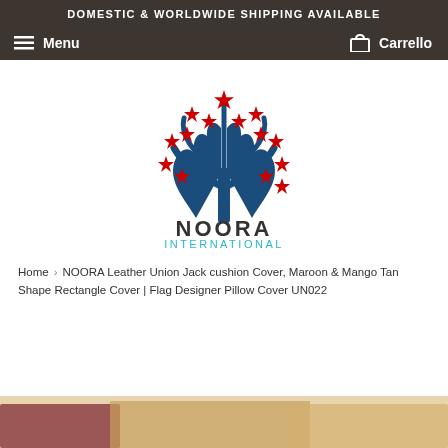DOMESTIC & WORLDWIDE SHIPPING AVAILABLE
Menu   Carrello
[Figure (logo): Noora International logo: two blue hands reaching upward forming a tree shape with red stars scattered among the branches, text 'NOORA' in dark gray and 'INTERNATIONAL' in light blue below]
Home › NOORA Leather Union Jack cushion Cover, Maroon & Mango Tan Shape Rectangle Cover | Flag Designer Pillow Cover UN022
[Figure (photo): Partial view of product - leather pillow cover at bottom of page]